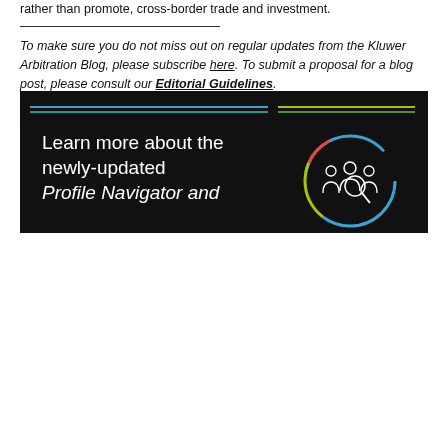rather than promote, cross-border trade and investment.
To make sure you do not miss out on regular updates from the Kluwer Arbitration Blog, please subscribe here. To submit a proposal for a blog post, please consult our Editorial Guidelines.
Profile Navigator and Relationship Indicator
Offers 6,200+ data-driven arbitrator, expert witness and counsel profiles and the ability to explore relationships of 13,500+ arbitration practitioners and experts for potential conflicts of interest.
Learn how Kluwer Arbitration Practice Plus can support you.
[Figure (illustration): Dark banner with colored horizontal lines (blue, teal, green) and white text reading 'Learn more about the newly-updated Profile Navigator and' with a circular icon showing people/group figures on the right side.]